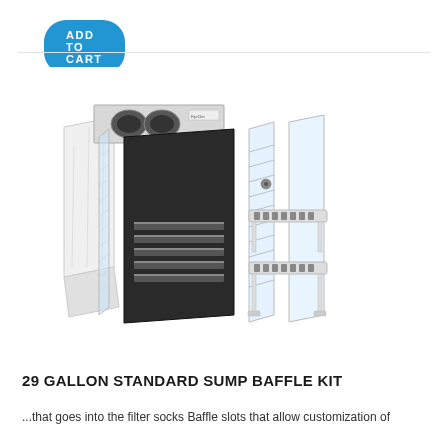[Figure (illustration): Exploded product diagram of a 29 Gallon Standard Sump Baffle Kit showing filter sock compartment with two round openings, black acrylic baffles with slotted vents, clear acrylic panels, and white plastic shelf/rack components arranged in an exploded isometric view.]
29 GALLON STANDARD SUMP BAFFLE KIT
...that goes into the filter socks Baffle slots that allow customization of